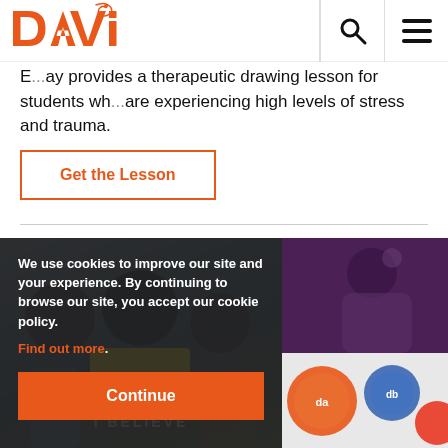Davis logo, search icon, menu icon
E...ay provides a therapeutic drawing lesson for students wh...are experiencing high levels of stress and trauma.
Get the Lesson
[Figure (photo): Photo collage: left panel shows students holding signs with 'I BELIEVE' text; right top panel is dark purple; right bottom panel shows colorful circular badges/stickers]
We use cookies to improve our site and your experience. By continuing to browse our site, you accept our cookie policy. Find out more. Continue